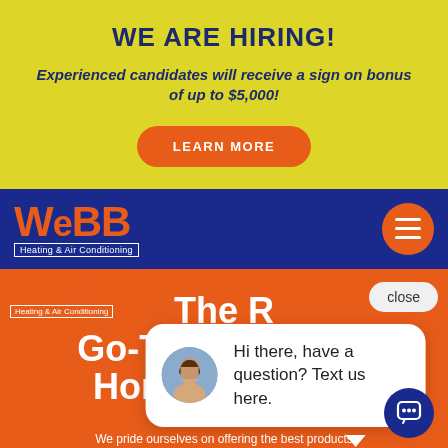WE ARE HIRING!
Experienced candidates will receive a sign on bonus of up to $5,000!
LEARN MORE
[Figure (logo): Webb Heating & Air Conditioning logo in orange text on blue navigation bar]
[Figure (screenshot): Webb Heating & Air Conditioning website screenshot showing orange hero section with chat popup. Text reads: The R... Go-To Source for Home Comfort! We pride ourselves on offering the best products. Chat bubble says: Hi there, have a question? Text us here.]
Hi there, have a question? Text us here.
The R... Go-To Source for Home Comfort!
We pride ourselves on offering the best products